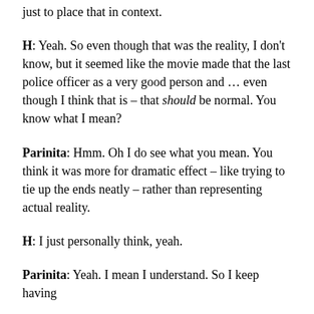just to place that in context.
H: Yeah. So even though that was the reality, I don't know, but it seemed like the movie made that the last police officer as a very good person and … even though I think that is – that should be normal. You know what I mean?
Parinita: Hmm. Oh I do see what you mean. You think it was more for dramatic effect – like trying to tie up the ends neatly – rather than representing actual reality.
H: I just personally think, yeah.
Parinita: Yeah. I mean I understand. So I keep having